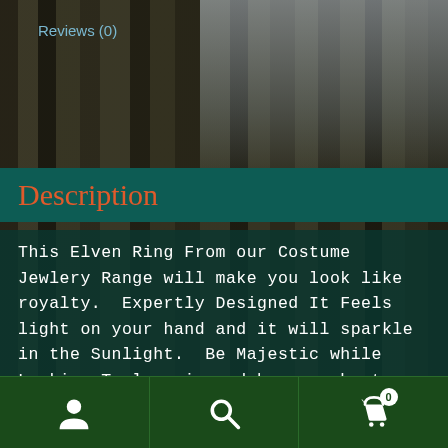Reviews (0)
Description
This Elven Ring From our Costume Jewlery Range will make you look like royalty.  Expertly Designed It Feels light on your hand and it will sparkle in the Sunlight.  Be Majestic while Looking Truly epic and be your best Elven self.  While Showing off your Elven power with this Ring Featuring
Navigation bar with user icon, search icon, and cart icon with badge 0